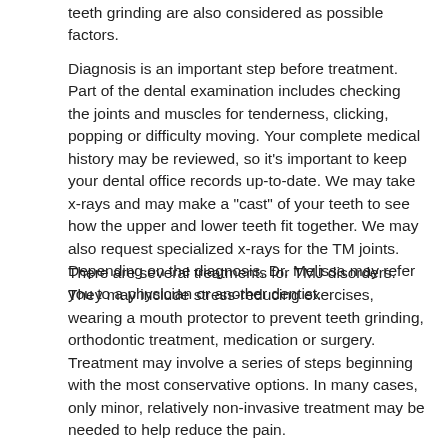teeth grinding are also considered as possible factors.
Diagnosis is an important step before treatment. Part of the dental examination includes checking the joints and muscles for tenderness, clicking, popping or difficulty moving. Your complete medical history may be reviewed, so it's important to keep your dental office records up-to-date. We may take x-rays and may make a "cast" of your teeth to see how the upper and lower teeth fit together. We may also request specialized x-rays for the TM joints. Depending on the diagnosis, Dr. Melissa may refer you to a physician or another dentist.
There are several treatments for TMJ disorders. They may include stress-reducing exercises, wearing a mouth protector to prevent teeth grinding, orthodontic treatment, medication or surgery. Treatment may involve a series of steps beginning with the most conservative options. In many cases, only minor, relatively non-invasive treatment may be needed to help reduce the pain.